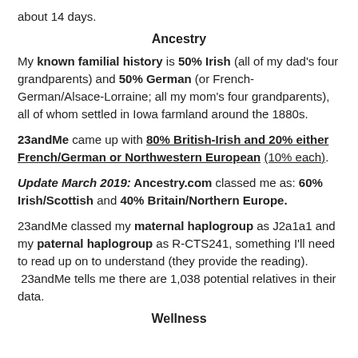about 14 days.
Ancestry
My known familial history is 50% Irish (all of my dad's four grandparents) and 50% German (or French-German/Alsace-Lorraine; all my mom's four grandparents), all of whom settled in Iowa farmland around the 1880s.
23andMe came up with 80% British-Irish and 20% either French/German or Northwestern European (10% each).
Update March 2019: Ancestry.com classed me as: 60% Irish/Scottish and 40% Britain/Northern Europe.
23andMe classed my maternal haplogroup as J2a1a1 and my paternal haplogroup as R-CTS241, something I'll need to read up on to understand (they provide the reading).
 23andMe tells me there are 1,038 potential relatives in their data.
Wellness